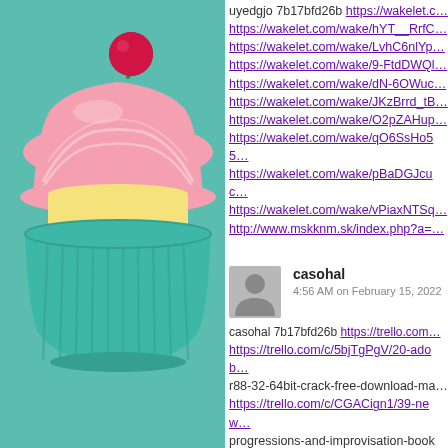[Figure (illustration): Cartoon cupcake with pink frosting, cherry on top, and teal/green wrapper on teal background]
uyedgjo 7b17bfd26b https://wakelet.c...
https://wakelet.com/wake/hYT__RrfC...
https://wakelet.com/wake/LvhC6nlYp...
https://wakelet.com/wake/9-FtdDWQl...
https://wakelet.com/wake/dN-6OWuc...
https://wakelet.com/wake/JKzBrrd_tB...
https://wakelet.com/wake/O2pZAHup...
https://wakelet.com/wake/qO6SsHo55...
https://wakelet.com/wake/pBaDGJcuc...
https://wakelet.com/wake/vPiaxNTSq...
http://www.mskknm.sk/index.php?a=
casohal
4:56 AM on February 15, 2022
casohal 7b17bfd26b https://trello.com...
https://trello.com/c/5bjTgPgV/20-adob...
r88-32-64bit-crack-free-download-ma...
https://trello.com/c/CGACign1/39-new...
progressions-and-improvisation-book-...
https://trello.com/c/2cy1xlCi/24-bst-